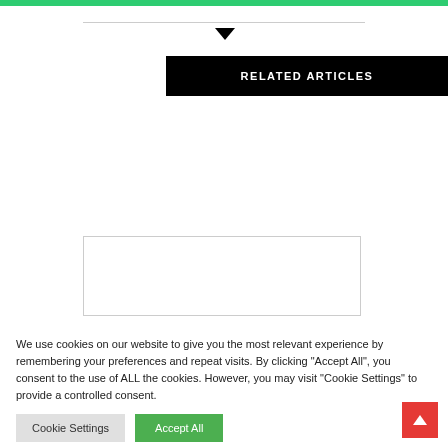RELATED ARTICLES
LEAVE A REPLY
Comment *
We use cookies on our website to give you the most relevant experience by remembering your preferences and repeat visits. By clicking "Accept All", you consent to the use of ALL the cookies. However, you may visit "Cookie Settings" to provide a controlled consent.
Cookie Settings
Accept All